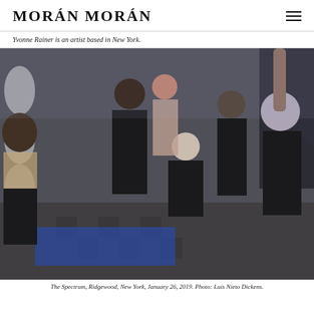MORÁN MORÁN
Yvonne Rainer is an artist based in New York.
[Figure (photo): A crowd of people dancing at a party or club event at The Spectrum, Ridgewood, New York, January 26, 2019. People wearing black clothing; one person has blue-gray hair with arm raised; another person is bent over holding a bottle; a tall man with a beard stands in the middle. The setting appears to be an indoor art space with white geometric-patterned walls.]
The Spectrum, Ridgewood, New York, January 26, 2019. Photo: Luis Nieto Dickens.